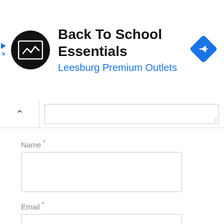[Figure (screenshot): Advertisement banner for Back To School Essentials at Leesburg Premium Outlets, with a circular black logo with white arrow icon, blue navigation diamond icon, and small play/close icons on the left edge]
Back To School Essentials
Leesburg Premium Outlets
Name *
Email *
Website